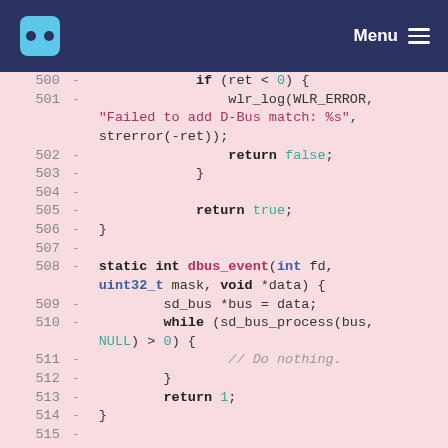Menu
[Figure (screenshot): Code diff view showing C source lines 500-515 with removed lines (marked with -) on pink background. Contains C code for dbus event handling.]